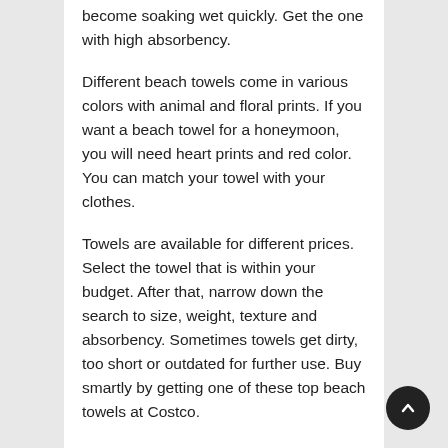become soaking wet quickly. Get the one with high absorbency.
Different beach towels come in various colors with animal and floral prints. If you want a beach towel for a honeymoon, you will need heart prints and red color. You can match your towel with your clothes.
Towels are available for different prices. Select the towel that is within your budget. After that, narrow down the search to size, weight, texture and absorbency. Sometimes towels get dirty, too short or outdated for further use. Buy smartly by getting one of these top beach towels at Costco.